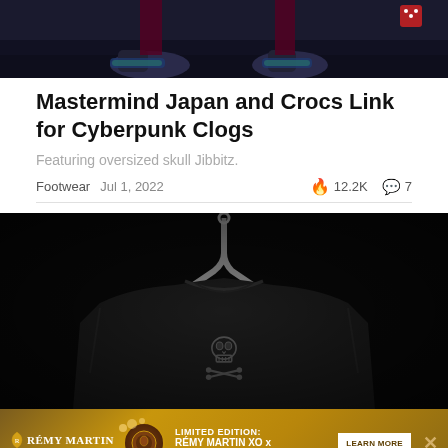[Figure (photo): Top portion of a dark photo showing feet/shoes on a dark surface, partially cropped]
Mastermind Japan and Crocs Link for Cyberpunk Clogs
Featuring oversized skull Jibbitz.
Footwear   Jul 1, 2022   🔥 12.2K   💬 7
[Figure (photo): Close-up black and white photo of a dark sweatshirt on a hanger showing a skull and crossbones embroidered logo on the chest, against a black background]
[Figure (photo): Advertisement banner for Rémy Martin XO x Lee Broom limited edition cognac with gold background, medallion image, and LEARN MORE button]